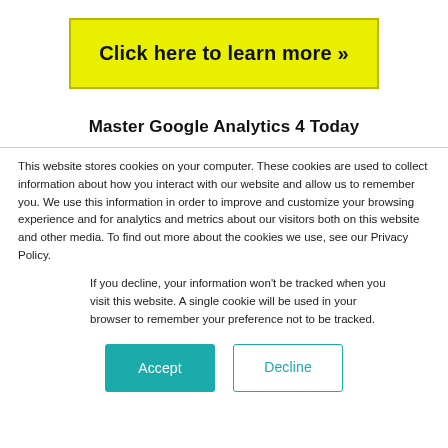[Figure (other): Yellow button with bold text 'Click here to learn more »' inside a yellow rectangle with dark border]
Master Google Analytics 4 Today
This website stores cookies on your computer. These cookies are used to collect information about how you interact with our website and allow us to remember you. We use this information in order to improve and customize your browsing experience and for analytics and metrics about our visitors both on this website and other media. To find out more about the cookies we use, see our Privacy Policy.
If you decline, your information won't be tracked when you visit this website. A single cookie will be used in your browser to remember your preference not to be tracked.
[Figure (other): Two buttons side by side: a solid teal 'Accept' button and an outlined teal 'Decline' button]